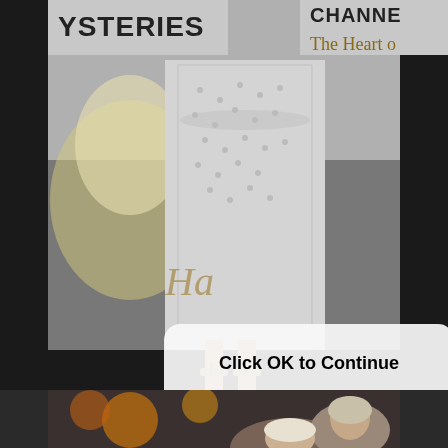[Figure (photo): A person wearing a floral/patterned dress at a Hallmark Channel Mysteries event, showing torso and legs with strappy heeled sandals, red carpet background with 'YSTERIES' and 'CHANNE' and 'The Heart o' text visible]
Click OK to Continue
OK
Dismiss
[Figure (photo): Two people at what appears to be an indoor event with warm orange/yellow lighting in the background]